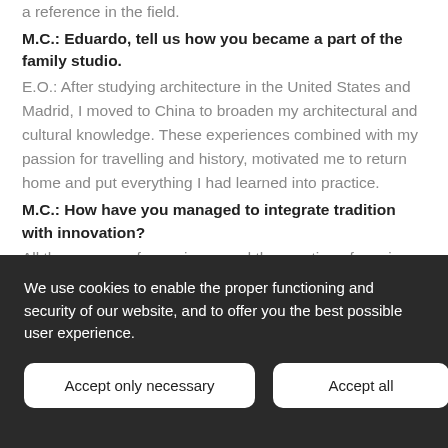a reference in the field.
M.C.: Eduardo, tell us how you became a part of the family studio.
E.O.: After studying architecture in the United States and Madrid, I moved to China to broaden my architectural and cultural knowledge. These experiences combined with my passion for travelling and history, motivated me to return home and put everything I had learned into practice.
M.C.: How have you managed to integrate tradition with innovation?
All these years of experience and the creation of a unique style of
We use cookies to enable the proper functioning and security of our website, and to offer you the best possible user experience.
Accept only necessary
Accept all